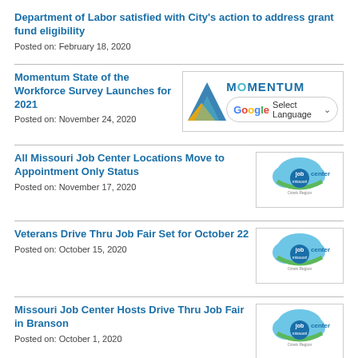Department of Labor satisfied with City's action to address grant fund eligibility
Posted on: February 18, 2020
Momentum State of the Workforce Survey Launches for 2021
Posted on: November 24, 2020
All Missouri Job Center Locations Move to Appointment Only Status
Posted on: November 17, 2020
Veterans Drive Thru Job Fair Set for October 22
Posted on: October 15, 2020
Missouri Job Center Hosts Drive Thru Job Fair in Branson
Posted on: October 1, 2020